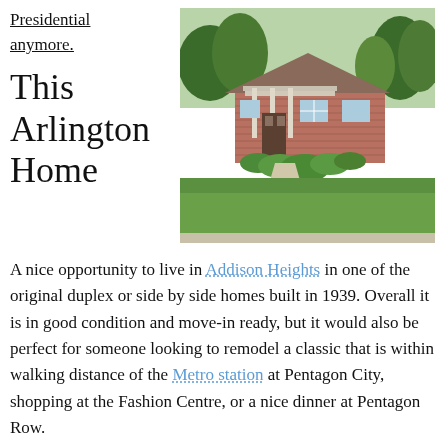Presidential anymore.
[Figure (photo): Exterior photo of a brick Arlington home with a green lawn, covered front porch, and lush garden plantings along the walkway.]
This Arlington Home
A nice opportunity to live in Addison Heights in one of the original duplex or side by side homes built in 1939. Overall it is in good condition and move-in ready, but it would also be perfect for someone looking to remodel a classic that is within walking distance of the Metro station at Pentagon City, shopping at the Fashion Centre, or a nice dinner at Pentagon Row.